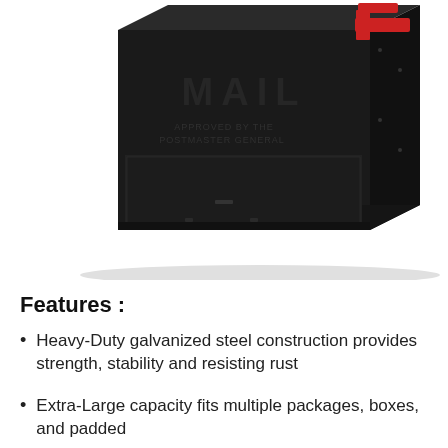[Figure (photo): A large black heavy-duty galvanized steel mailbox with red flag raised, showing 'MAIL' embossed on the front door and 'APPROVED BY THE POSTMASTER GENERAL' text beneath. The mailbox is shown at an angle on a white background.]
Features :
Heavy-Duty galvanized steel construction provides strength, stability and resisting rust
Extra-Large capacity fits multiple packages, boxes, and padded envelopes and more able